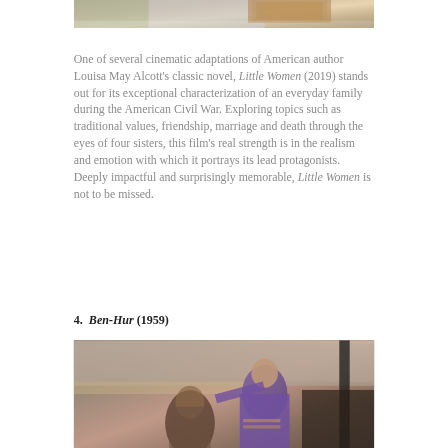[Figure (photo): Top portion of a photo showing women in period costume carrying baskets, from the film Little Women]
One of several cinematic adaptations of American author Louisa May Alcott's classic novel, Little Women (2019) stands out for its exceptional characterization of an everyday family during the American Civil War. Exploring topics such as traditional values, friendship, marriage and death through the eyes of four sisters, this film's real strength is in the realism and emotion with which it portrays its lead protagonists. Deeply impactful and surprisingly memorable, Little Women is not to be missed.
4. Ben-Hur (1959)
[Figure (photo): Scene from the 1959 film Ben-Hur showing actors in Roman/ancient costumes in what appears to be an arena setting with a crowd in the background]